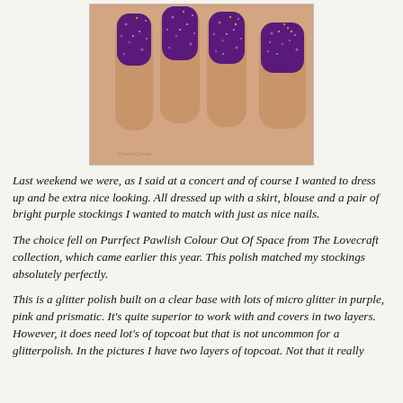[Figure (photo): Close-up photo of four fingernails painted with dark purple glitter nail polish (Purrfect Pawlish Colour Out Of Space). The nails show sparkly purple, pink and prismatic micro glitter on a clear base. A small watermark reads '@LackyCorner'.]
Last weekend we were, as I said at a concert and of course I wanted to dress up and be extra nice looking. All dressed up with a skirt, blouse and a pair of bright purple stockings I wanted to match with just as nice nails.
The choice fell on Purrfect Pawlish Colour Out Of Space from The Lovecraft collection, which came earlier this year. This polish matched my stockings absolutely perfectly.
This is a glitter polish built on a clear base with lots of micro glitter in purple, pink and prismatic. It's quite superior to work with and covers in two layers. However, it does need lot's of topcoat but that is not uncommon for a glitterpolish. In the pictures I have two layers of topcoat. Not that it really